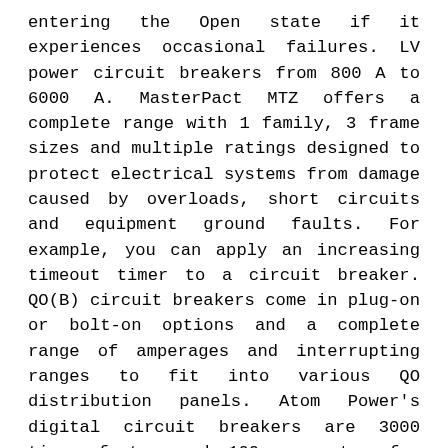entering the Open state if it experiences occasional failures. LV power circuit breakers from 800 A to 6000 A. MasterPact MTZ offers a complete range with 1 family, 3 frame sizes and multiple ratings designed to protect electrical systems from damage caused by overloads, short circuits and equipment ground faults. For example, you can apply an increasing timeout timer to a circuit breaker. QO(B) circuit breakers come in plug-on or bolt-on options and a complete range of amperages and interrupting ranges to fit into various QO distribution panels. Atom Power's digital circuit breakers are 3000 times faster and 100 percent safer than mechanical circuit breakers. You can also specify how often the circuit breaker should try your code before failing with setMaxRetries If you set this to something higher than 0 your code gets executed several times before finally failing in the last execution. MicroLogic control units are designed for use in both ComPact NS and MasterPact NT,